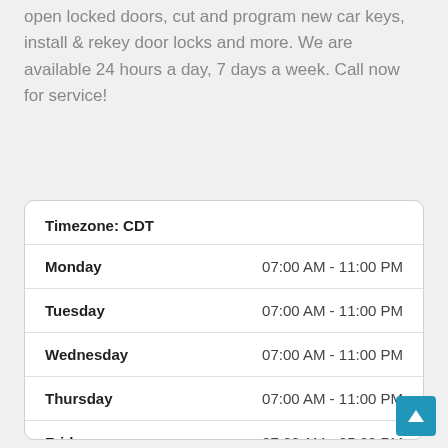open locked doors, cut and program new car keys, install & rekey door locks and more. We are available 24 hours a day, 7 days a week. Call now for service!
| Day | Hours |
| --- | --- |
| Monday | 07:00 AM - 11:00 PM |
| Tuesday | 07:00 AM - 11:00 PM |
| Wednesday | 07:00 AM - 11:00 PM |
| Thursday | 07:00 AM - 11:00 PM |
| Friday | 07:00 AM - 05:00 PM |
| Saturday | 04:30 PM - 10:00 PM |